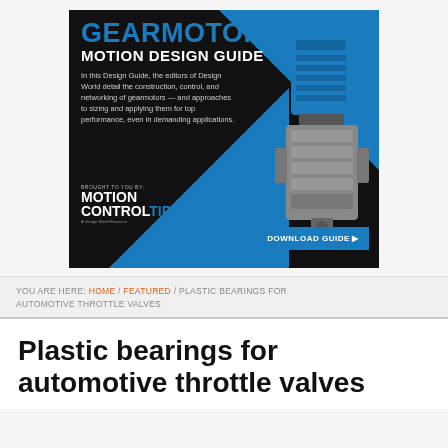[Figure (infographic): Advertisement banner for Gearmotors Motion Design Guide by Motion Control Tips. Black background with blue diagonal shapes, text describing the guide content, a gearmotor image on the right, 'BROUGHT TO YOU BY: MOTION CONTROLTIPS' logo on the lower left, and a blue 'DOWNLOAD GUIDE ▶' button on the lower right.]
YOU ARE HERE: HOME / FEATURED / PLASTIC BEARINGS FOR AUTOMOTIVE THROTTLE VALVES
Plastic bearings for automotive throttle valves